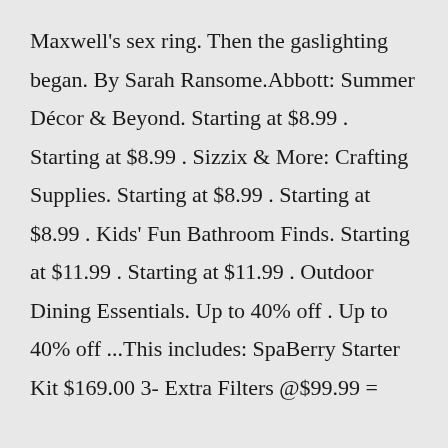Maxwell's sex ring. Then the gaslighting began. By Sarah Ransome.Abbott: Summer Décor & Beyond. Starting at $8.99 . Starting at $8.99 . Sizzix & More: Crafting Supplies. Starting at $8.99 . Starting at $8.99 . Kids' Fun Bathroom Finds. Starting at $11.99 . Starting at $11.99 . Outdoor Dining Essentials. Up to 40% off . Up to 40% off ...This includes: SpaBerry Starter Kit $169.00 3- Extra Filters @$99.99 =